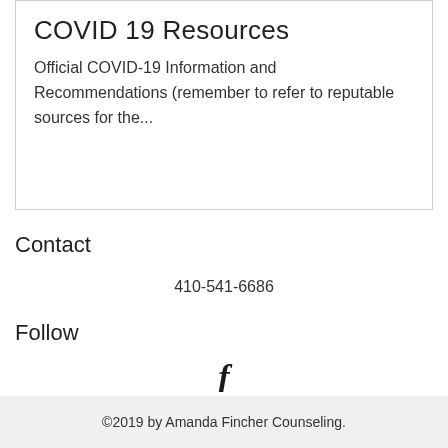COVID 19 Resources
Official COVID-19 Information and Recommendations (remember to refer to reputable sources for the...
Contact
410-541-6686
Follow
[Figure (logo): Facebook logo icon (stylized letter f)]
©2019 by Amanda Fincher Counseling.